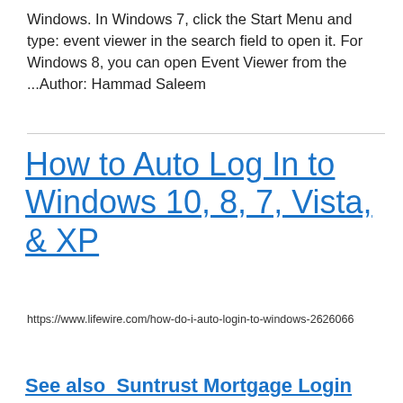Windows. In Windows 7, click the Start Menu and type: event viewer in the search field to open it. For Windows 8, you can open Event Viewer from the ...Author: Hammad Saleem
How to Auto Log In to Windows 10, 8, 7, Vista, & XP
https://www.lifewire.com/how-do-i-auto-login-to-windows-2626066
See also  Suntrust Mortgage Login